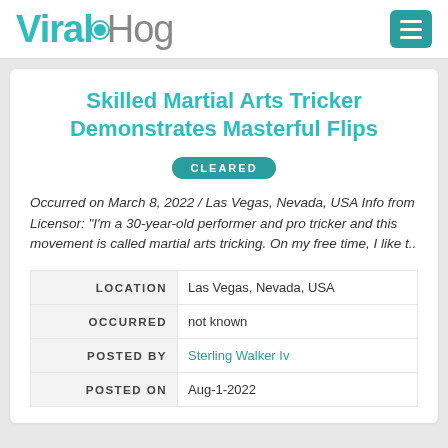ViralHog
Skilled Martial Arts Tricker Demonstrates Masterful Flips
CLEARED
Occurred on March 8, 2022 / Las Vegas, Nevada, USA Info from Licensor: "I'm a 30-year-old performer and pro tricker and this movement is called martial arts tricking. On my free time, I like t..
|  |  |
| --- | --- |
| LOCATION | Las Vegas, Nevada, USA |
| OCCURRED | not known |
| POSTED BY | Sterling Walker Iv |
| POSTED ON | Aug-1-2022 |